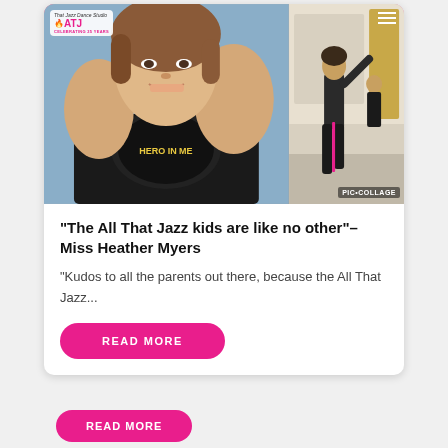[Figure (photo): Collage of two images: a close-up photo of a woman smiling in a black dance tank top with 'HERO IN ME' printed on it, set against a sparkly blue background; and a second photo of a woman dancing/teaching in a gym or studio. The collage has a hot pink border and a 'PIC•COLLAGE' watermark. An ATJ (All That Jazz Dance Studio) logo with circular arc text 'That Jazz Dance Studio' appears top-left, and a hamburger menu icon appears top-right.]
“The All That Jazz kids are like no other” – Miss Heather Myers
“Kudos to all the parents out there, because the All That Jazz...
READ MORE